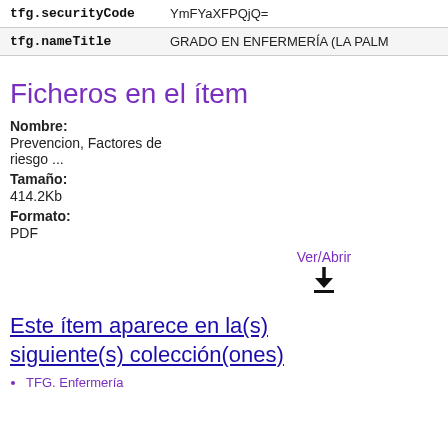| Key | Value |
| --- | --- |
| tfg.securityCode | YmFYaXFPQjQ= |
| tfg.nameTitle | GRADO EN ENFERMERÍA (LA PALM |
Ficheros en el ítem
Nombre:
Prevencion, Factores de riesgo ...
Tamaño:
414.2Kb
Formato:
PDF
Ver/Abrir
Este ítem aparece en la(s) siguiente(s) colección(ones)
TFG. Enfermería